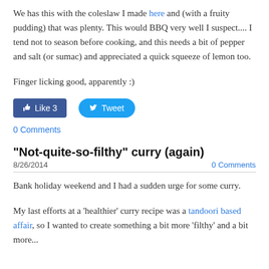We has this with the coleslaw I made here and (with a fruity pudding) that was plenty. This would BBQ very well I suspect.... I tend not to season before cooking, and this needs a bit of pepper and salt (or sumac) and appreciated a quick squeeze of lemon too.
Finger licking good, apparently :)
[Figure (other): Facebook Like button showing 3 likes and Twitter Tweet button]
0 Comments
"Not-quite-so-filthy" curry (again)
8/26/2014    0 Comments
Bank holiday weekend and I had a sudden urge for some curry.
My last efforts at a 'healthier' curry recipe was a tandoori based affair, so I wanted to create something a bit more 'filthy' and a bit more...